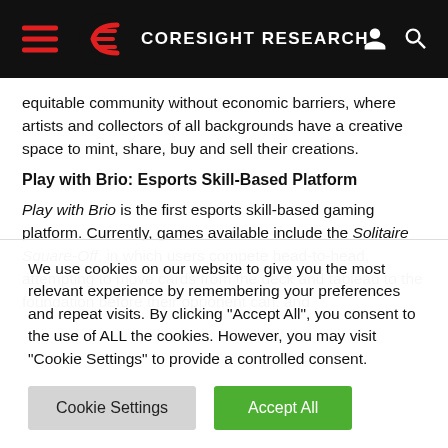Coresight Research
equitable community without economic barriers, where artists and collectors of all backgrounds have a creative space to mint, share, buy and sell their creations.
Play with Brio: Esports Skill-Based Platform
Play with Brio is the first esports skill-based gaming platform. Currently, games available include the Solitaire Square-Off, in which users compete head-to-head, attempting to move cards from the deck and tableau to the foundation before their opponent can, and
We use cookies on our website to give you the most relevant experience by remembering your preferences and repeat visits. By clicking "Accept All", you consent to the use of ALL the cookies. However, you may visit "Cookie Settings" to provide a controlled consent.